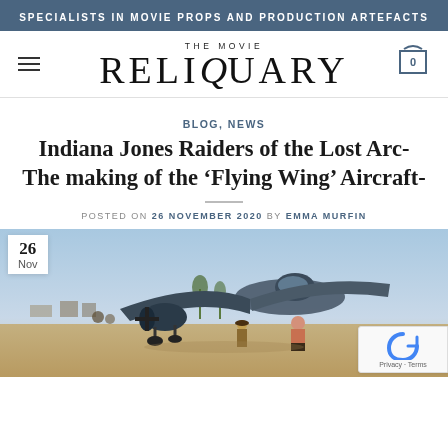SPECIALISTS IN MOVIE PROPS AND PRODUCTION ARTEFACTS
[Figure (logo): The Movie Reliquary logo with hamburger menu and cart icon]
BLOG, NEWS
Indiana Jones Raiders of the Lost Arc- The making of the ‘Flying Wing’ Aircraft-
POSTED ON 26 NOVEMBER 2020 BY EMMA MURFIN
[Figure (photo): Indiana Jones Raiders of the Lost Arc Flying Wing aircraft scene showing actors on desert runway with aircraft prop, date badge showing 26 Nov in top-left corner, reCAPTCHA badge bottom-right]